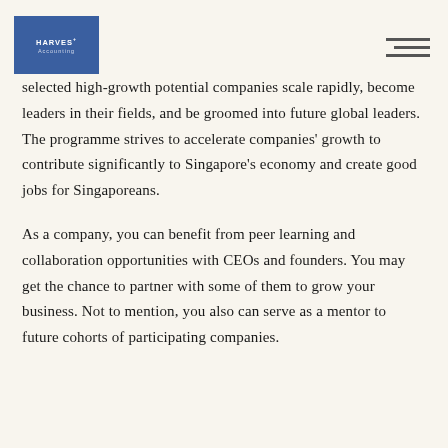HARVEST Accounting
selected high-growth potential companies scale rapidly, become leaders in their fields, and be groomed into future global leaders. The programme strives to accelerate companies' growth to contribute significantly to Singapore's economy and create good jobs for Singaporeans.
As a company, you can benefit from peer learning and collaboration opportunities with CEOs and founders. You may get the chance to partner with some of them to grow your business. Not to mention, you also can serve as a mentor to future cohorts of participating companies.